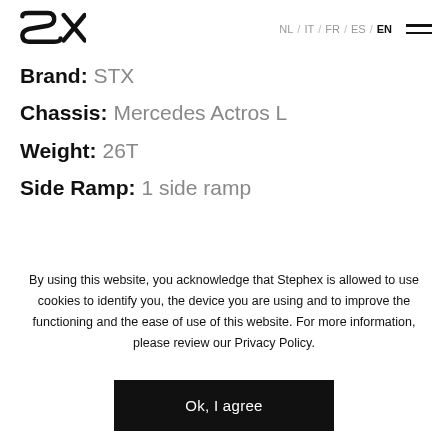STX logo | NL / IT / FR / ES / EN | hamburger menu
Brand: STX
Chassis: Mercedes Actros L
Weight: 26T
Side Ramp: 1 side ramp
By using this website, you acknowledge that Stephex is allowed to use cookies to identify you, the device you are using and to improve the functioning and the ease of use of this website. For more information, please review our Privacy Policy.
Ok, I agree